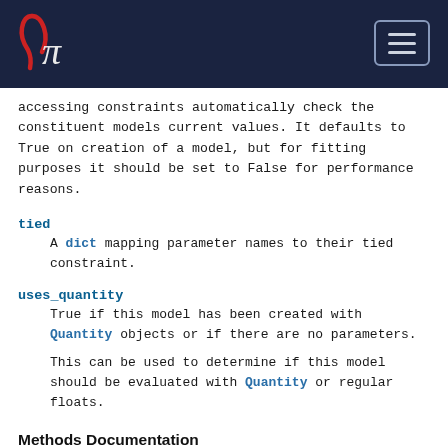γπ [logo] [menu button]
accessing constraints automatically check the constituent models current values. It defaults to True on creation of a model, but for fitting purposes it should be set to False for performance reasons.
tied
A dict mapping parameter names to their tied constraint.
uses_quantity
True if this model has been created with Quantity objects or if there are no parameters.
This can be used to determine if this model should be evaluated with Quantity or regular floats.
Methods Documentation
__call__(*inputs, model_set_axis=None, with_bounding_box=False, fill_value=nan,